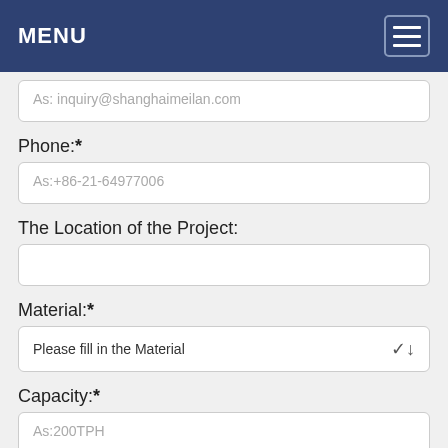MENU
As: inquiry@shanghaimeilan.com
Phone:*
As:+86-21-64977006
The Location of the Project:
Material:*
Please fill in the Material
Capacity:*
As:200TPH
Message:*
Please include as much information as possible, e.g. material type,